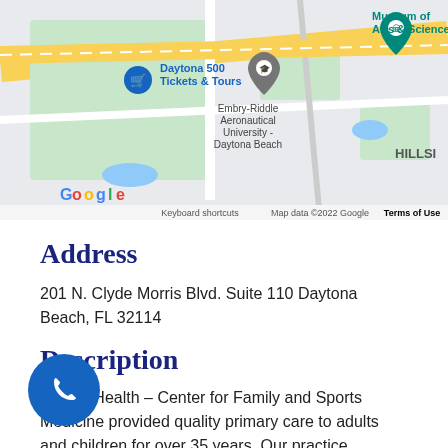[Figure (map): Google Maps screenshot showing area around 201 N. Clyde Morris Blvd, Daytona Beach, FL. Visible landmarks include Daytona 500 Tickets & Tours, Embry-Riddle Aeronautical University - Daytona Beach, Museum of Arts & Sciences, and HILLSI label. Map footer shows Keyboard shortcuts, Map data ©2022 Google, Terms of Use.]
Address
201 N. Clyde Morris Blvd. Suite 110 Daytona Beach, FL 32114
Description
Halifax Health – Center for Family and Sports Medicine provided quality primary care to adults and children for over 35 years. Our practice includes eight board certified family medicine physicians, one board certified